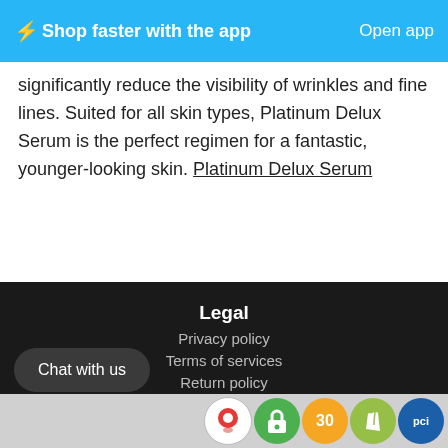⚡Shop faster with the app   Open app
significantly reduce the visibility of wrinkles and fine lines. Suited for all skin types, Platinum Delux Serum is the perfect regimen for a fantastic, younger-looking skin. Platinum Delux Serum
Legal
Privacy policy
Terms of services
Return policy
Cookie policy
Shipping policy
Disclaimer
Chat with us